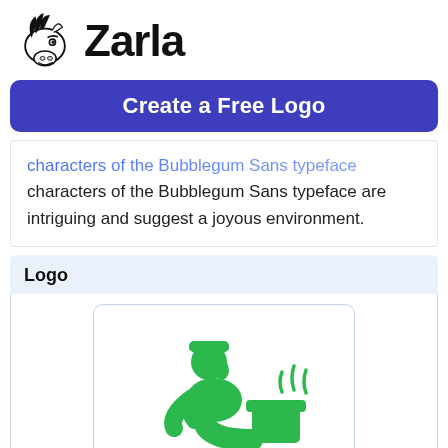[Figure (logo): Zarla logo: cartoon zebra mascot head with bold text 'Zarla' next to it]
[Figure (other): Blue rounded rectangle button with white bold text 'Create a Free Logo']
characters of the Bubblegum Sans typeface are intriguing and suggest a joyous environment.
Logo
[Figure (illustration): Green flat illustration of a person sitting on a toilet with steam/smell lines rising from the toilet]